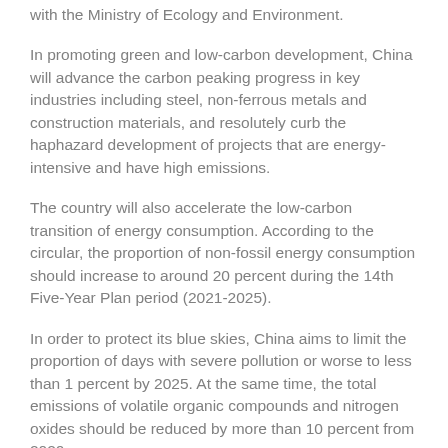with the Ministry of Ecology and Environment.
In promoting green and low-carbon development, China will advance the carbon peaking progress in key industries including steel, non-ferrous metals and construction materials, and resolutely curb the haphazard development of projects that are energy-intensive and have high emissions.
The country will also accelerate the low-carbon transition of energy consumption. According to the circular, the proportion of non-fossil energy consumption should increase to around 20 percent during the 14th Five-Year Plan period (2021-2025).
In order to protect its blue skies, China aims to limit the proportion of days with severe pollution or worse to less than 1 percent by 2025. At the same time, the total emissions of volatile organic compounds and nitrogen oxides should be reduced by more than 10 percent from 2020.